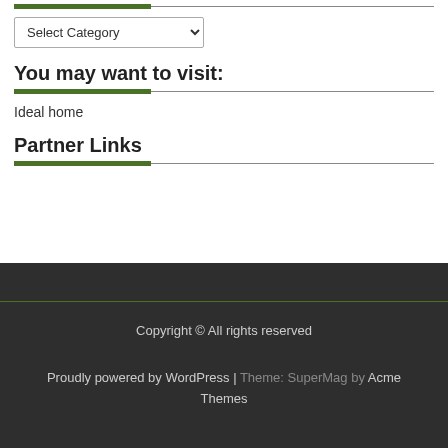[Figure (screenshot): Green decorative bar at top with thin horizontal line extending to right]
Select Category
You may want to visit:
Ideal home
Partner Links
Copyright © All rights reserved
Proudly powered by WordPress | Theme: SuperMag by Acme Themes